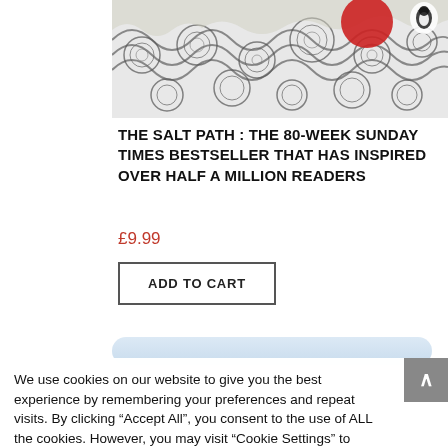[Figure (illustration): Top portion of a book cover showing swirling ocean waves in black and white ink style with a red circle (sun) and a small penguin logo in the upper right corner.]
THE SALT PATH : THE 80-WEEK SUNDAY TIMES BESTSELLER THAT HAS INSPIRED OVER HALF A MILLION READERS
£9.99
ADD TO CART
We use cookies on our website to give you the best experience by remembering your preferences and repeat visits. By clicking "Accept All", you consent to the use of ALL the cookies. However, you may visit "Cookie Settings" to provide a controlled consent.
Cookie Settings
Accept All